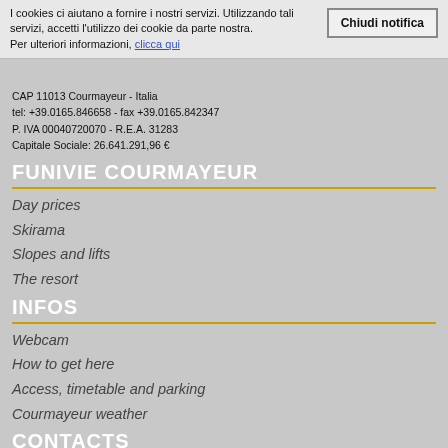I cookies ci aiutano a fornire i nostri servizi. Utilizzando tali servizi, accetti l'utilizzo dei cookie da parte nostra. Per ulteriori informazioni, clicca qui
CAP 11013 Courmayeur - Italia
tel: +39.0165.846658 - fax +39.0165.842347
P. IVA 00040720070 - R.E.A. 31283
Capitale Sociale: 26.641.291,96 €
FUNIVIE COURMAYEUR
Day prices
Skirama
Slopes and lifts
The resort
INFOS
Webcam
How to get here
Access, timetable and parking
Courmayeur weather
CONTACTS
Società trasparente
L.R. 20/2016
Contacts
Invitiation to tender
Privacy
Ethical code